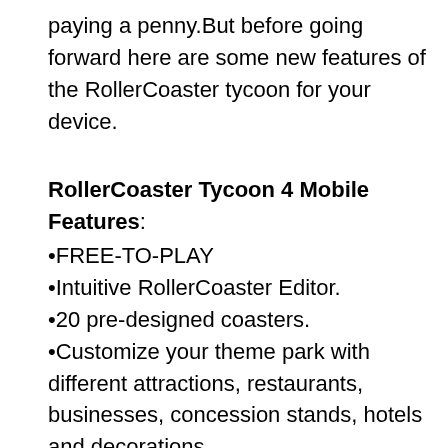paying a penny.But before going forward here are some new features of the RollerCoaster tycoon for your device.
RollerCoaster Tycoon 4 Mobile Features:
•FREE-TO-PLAY
•Intuitive RollerCoaster Editor.
•20 pre-designed coasters.
•Customize your theme park with different attractions, restaurants, businesses, concession stands, hotels and decorations.
•Play a Slots mini-game within your park.
•Unlock new materials to construct cooler, faster and taller coasters.